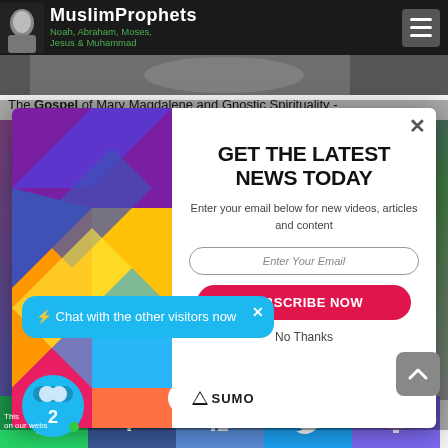MuslimProphets – Noah, Abraham, Moses, Jesus & Muhammad
The Gospel of Mary Magdalene and Gnostic Spirituality -
[Figure (screenshot): Newsletter subscription modal popup with colorful geometric design on left side. Right side has headline 'GET THE LATEST NEWS TODAY', subtext 'Enter your email below for new videos, articles and content', email input field, SUBSCRIBE NOW button, and No Thanks link.]
GET THE LATEST NEWS TODAY
Enter your email below for new videos, articles and content
Enter Your Email
SUBSCRIBE NOW
No Thanks
⚡ Chat with the other visitors now
2
SUMO
This [site]
on our webs[ite]